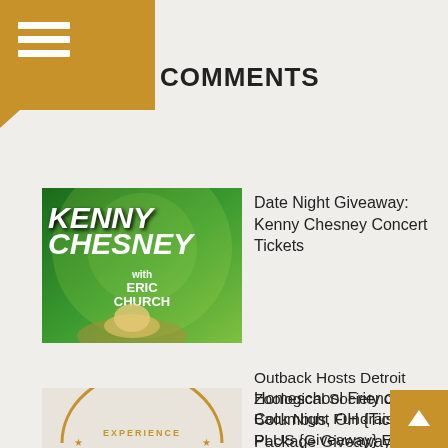COMMENTS
[Figure (photo): Kenny Chesney concert poster with Eric Church, green background, white text]
Date Night Giveaway: Kenny Chesney Concert Tickets
Outback Hosts Detroit Zoological Society Give Back Night Fundraiser PLUS {Giveaway} Ends 11/7 #OutbackZooNight
[Figure (logo): Experience Columbus arc logo, partial view at bottom left]
Homeschool Friendly Columbus, OH {Ticket Package Giveaway}